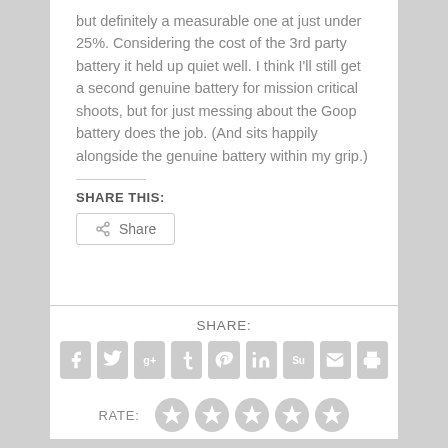but definitely a measurable one at just under 25%. Considering the cost of the 3rd party battery it held up quiet well. I think I'll still get a second genuine battery for mission critical shoots, but for just messing about the Goop battery does the job. (And sits happily alongside the genuine battery within my grip.)
SHARE THIS:
[Figure (other): Share button with share icon and text 'Share']
SHARE:
[Figure (other): Row of social media icons: Facebook, Twitter, Google+, Tumblr, Pinterest, LinkedIn, StumbleUpon, Email, Print]
RATE:
[Figure (other): Five star rating icons (all empty/grey stars)]